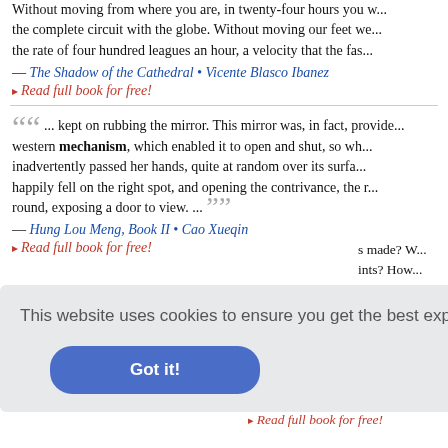Without moving from where you are, in twenty-four hours you w... the complete circuit with the globe. Without moving our feet we... the rate of four hundred leagues an hour, a velocity that the fas...
— The Shadow of the Cathedral • Vicente Blasco Ibanez
▸ Read full book for free!
"... kept on rubbing the mirror. This mirror was, in fact, provide... western mechanism, which enabled it to open and shut, so wh... inadvertently passed her hands, quite at random over its surfa... happily fell on the right spot, and opening the contrivance, the r... round, exposing a door to view. ..."
— Hung Lou Meng, Book II • Cao Xueqin
▸ Read full book for free!
This website uses cookies to ensure you get the best experience on our website. Learn more
Got it!
s made? W... ints? How... gold? Is th... Money and...
Studies in Civics • James ... McGotaty
▸ Read full book for free!